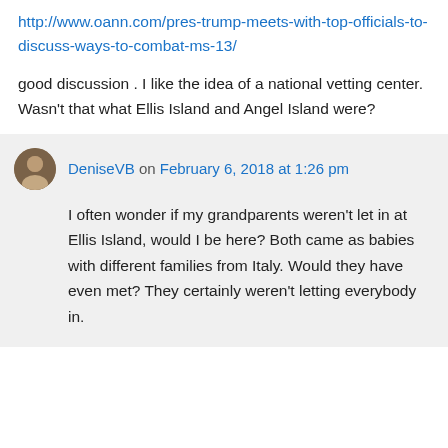http://www.oann.com/pres-trump-meets-with-top-officials-to-discuss-ways-to-combat-ms-13/
good discussion . I like the idea of a national vetting center. Wasn't that what Ellis Island and Angel Island were?
DeniseVB on February 6, 2018 at 1:26 pm
I often wonder if my grandparents weren't let in at Ellis Island, would I be here? Both came as babies with different families from Italy. Would they have even met? They certainly weren't letting everybody in.